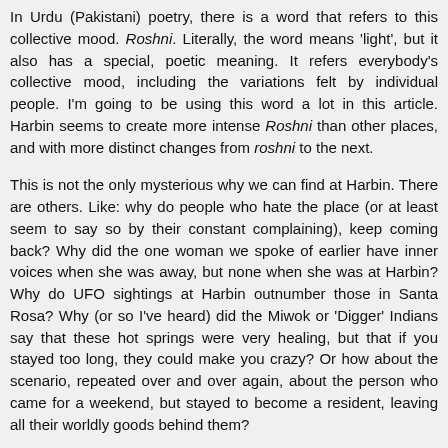In Urdu (Pakistani) poetry, there is a word that refers to this collective mood. Roshni. Literally, the word means 'light', but it also has a special, poetic meaning. It refers everybody's collective mood, including the variations felt by individual people. I'm going to be using this word a lot in this article. Harbin seems to create more intense Roshni than other places, and with more distinct changes from roshni to the next.
This is not the only mysterious why we can find at Harbin. There are others. Like: why do people who hate the place (or at least seem to say so by their constant complaining), keep coming back? Why did the one woman we spoke of earlier have inner voices when she was away, but none when she was at Harbin? Why do UFO sightings at Harbin outnumber those in Santa Rosa? Why (or so I've heard) did the Miwok or 'Digger' Indians say that these hot springs were very healing, but that if you stayed too long, they could make you crazy? Or how about the scenario, repeated over and over again, about the person who came for a weekend, but stayed to become a resident, leaving all their worldly goods behind them?